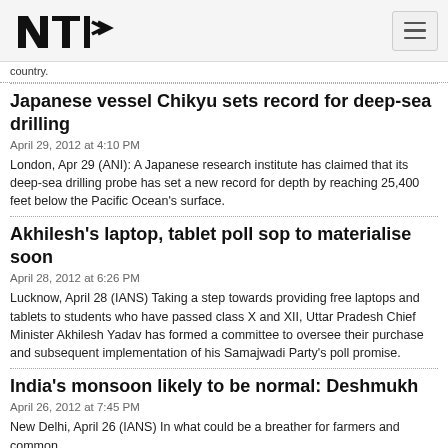NTI [logo] [hamburger menu]
country.
Japanese vessel Chikyu sets record for deep-sea drilling
April 29, 2012 at 4:10 PM
London, Apr 29 (ANI): A Japanese research institute has claimed that its deep-sea drilling probe has set a new record for depth by reaching 25,400 feet below the Pacific Ocean's surface.
Akhilesh's laptop, tablet poll sop to materialise soon
April 28, 2012 at 6:26 PM
Lucknow, April 28 (IANS) Taking a step towards providing free laptops and tablets to students who have passed class X and XII, Uttar Pradesh Chief Minister Akhilesh Yadav has formed a committee to oversee their purchase and subsequent implementation of his Samajwadi Party's poll promise.
India's monsoon likely to be normal: Deshmukh
April 26, 2012 at 7:45 PM
New Delhi, April 26 (IANS) In what could be a breather for farmers and common